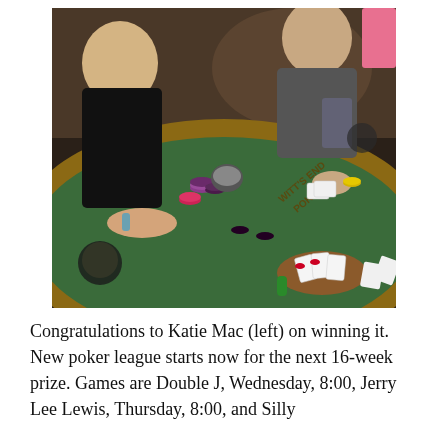[Figure (photo): People playing poker around a green felt poker table. A woman with blonde hair is visible on the left in a black top. A tattooed man in a grey t-shirt sits in the background. A person's hands with red nail polish holds cards at the bottom right. Poker chips and cards are on the table. A wooden rail with text 'WITT'S END POKER' is visible.]
Congratulations to Katie Mac (left) on winning it. New poker league starts now for the next 16-week prize. Games are Double J, Wednesday, 8:00, Jerry Lee Lewis, Thursday, 8:00, and Silly